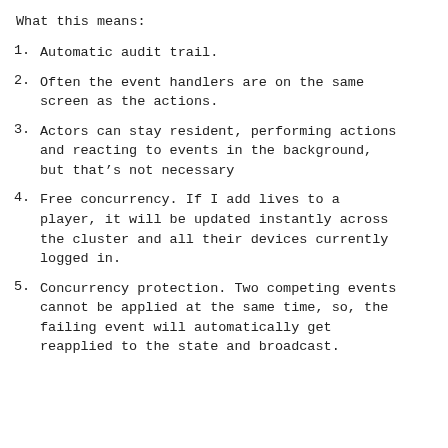What this means:
1. Automatic audit trail.
2. Often the event handlers are on the same screen as the actions.
3. Actors can stay resident, performing actions and reacting to events in the background, but that's not necessary
4. Free concurrency. If I add lives to a player, it will be updated instantly across the cluster and all their devices currently logged in.
5. Concurrency protection. Two competing events cannot be applied at the same time, so, the failing event will automatically get reapplied to the state and broadcast.